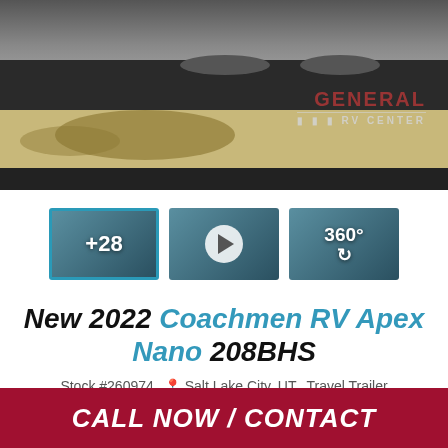[Figure (photo): Photo of a travel trailer/RV undercarriage in a parking lot with General RV Center watermark]
[Figure (screenshot): Three thumbnail images: first selected with +28 label, second with play button, third with 360° label]
New 2022 Coachmen RV Apex Nano 208BHS
Stock #260974  Salt Lake City, UT  Travel Trailer
CALL NOW / CONTACT